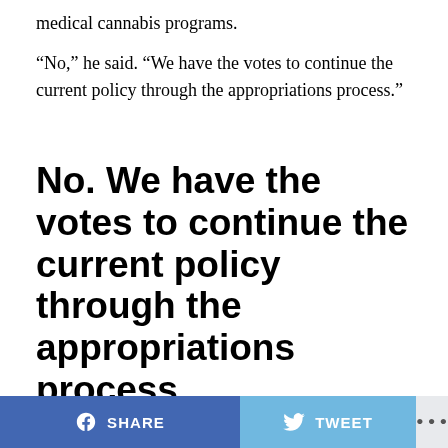medical cannabis programs.
“No,” he said. “We have the votes to continue the current policy through the appropriations process.”
No. We have the votes to continue the current policy through the appropriations process.
— Matt Gaetz (@mattgaetz) February 11, 2020